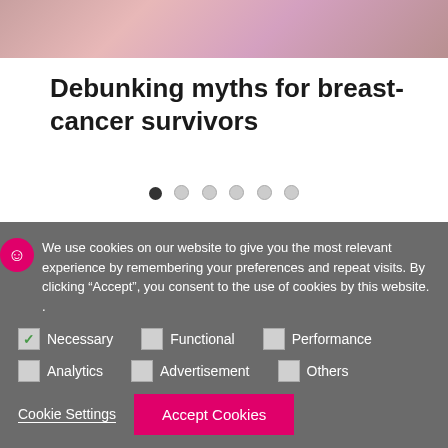[Figure (photo): Partial banner image of people, appears to be breast cancer survivors, cropped at top]
Debunking myths for breast-cancer survivors
[Figure (other): Slideshow navigation dots: one filled dark, five light/inactive]
We use cookies on our website to give you the most relevant experience by remembering your preferences and repeat visits. By clicking “Accept”, you consent to the use of cookies by this website. .
Necessary  Functional  Performance  Analytics  Advertisement  Others
Cookie Settings    Accept Cookies    Accept All Cookies